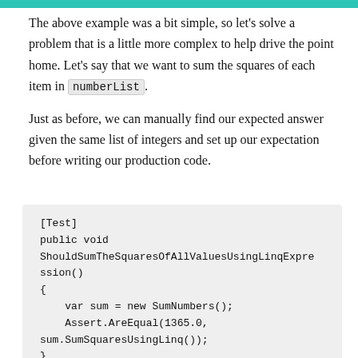The above example was a bit simple, so let's solve a problem that is a little more complex to help drive the point home. Let's say that we want to sum the squares of each item in numberList.
Just as before, we can manually find our expected answer given the same list of integers and set up our expectation before writing our production code.
[Figure (other): Code block showing a C# unit test method [Test] public void ShouldSumTheSquaresOfAllValuesUsingLinqExpression() { var sum = new SumNumbers(); Assert.AreEqual(1365.0, sum.SumSquaresUsingLinq()); }]